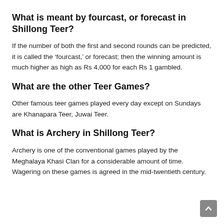What is meant by fourcast, or forecast in Shillong Teer?
If the number of both the first and second rounds can be predicted, it is called the ‘fourcast,’ or forecast; then the winning amount is much higher as high as Rs 4,000 for each Rs 1 gambled.
What are the other Teer Games?
Other famous teer games played every day except on Sundays are Khanapara Teer, Juwai Teer.
What is Archery in Shillong Teer?
Archery is one of the conventional games played by the Meghalaya Khasi Clan for a considerable amount of time. Wagering on these games is agreed in the mid-twentieth century.